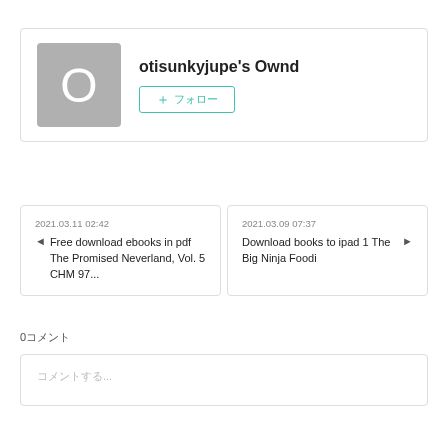[Figure (other): Profile avatar placeholder with grey background and letter O]
otisunkyjupe's Ownd
+ フォロー
2021.03.11 02:42
Free download ebooks in pdf The Promised Neverland, Vol. 5 CHM 97...
2021.03.09 07:37
Download books to ipad 1 The Big Ninja Foodi
0コメント
コメントする...